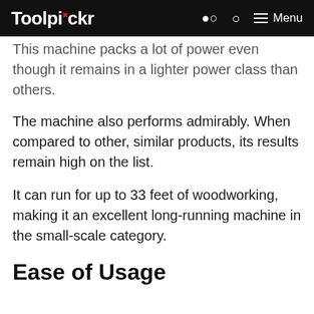Toolpickr  🔍  ≡ Menu
This machine packs a lot of power even though it remains in a lighter power class than others.
The machine also performs admirably. When compared to other, similar products, its results remain high on the list.
It can run for up to 33 feet of woodworking, making it an excellent long-running machine in the small-scale category.
Ease of Usage